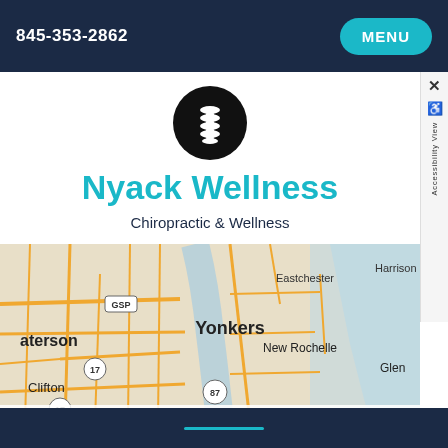845-353-2862  MENU
[Figure (logo): Black circular logo with white spine/vertebrae icon for Nyack Wellness chiropractic practice]
Nyack Wellness
Chiropractic & Wellness
[Figure (map): Street map showing area around Nyack/Yonkers NY including labels: Yonkers, Eastchester, Harrison, New Rochelle, Clifton, aterson (Paterson), Glen, GSP, 17, 87 route markers]
Leaflet | Map data provided by Internet Brands